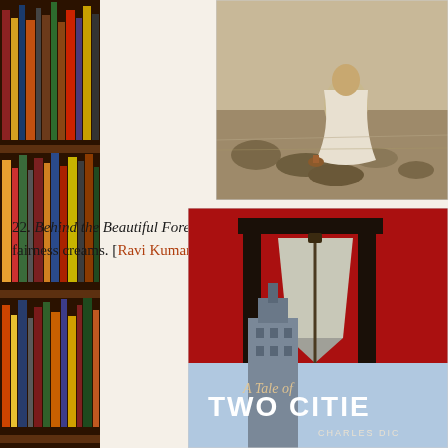[Figure (photo): Person sitting on rocky ground, seen from behind, wearing a light-colored garment]
22. Behind the Beautiful Forevers by Katherine … fairness creams. [Ravi Kumar]
[Figure (photo): Book cover of 'A Tale of Two Cities' by Charles Dickens, featuring a guillotine on a red background]
[Figure (photo): Bookshelf with colorful books on wooden shelves, left side of page]